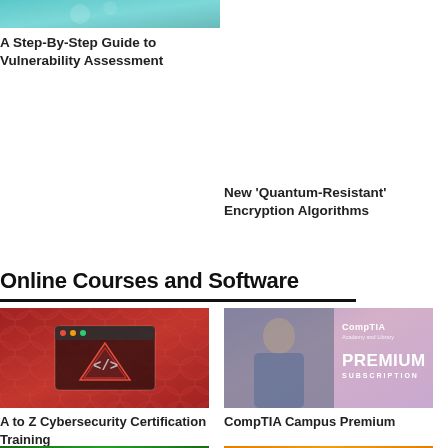[Figure (photo): Partial thumbnail image at top left, teal/cyan colored, related to vulnerability assessment]
A Step-By-Step Guide to Vulnerability Assessment
New 'Quantum-Resistant' Encryption Algorithms
Online Courses and Software
[Figure (photo): Red-themed course card with code icon showing A to Z Cybersecurity Certification Training]
[Figure (photo): Pink/purple-themed CompTIA Campus Premium subscription card]
A to Z Cybersecurity Certification Training
CompTIA Campus Premium
[Figure (photo): Green matrix/binary themed partial image at bottom left]
[Figure (photo): Orange themed partial image at bottom right]